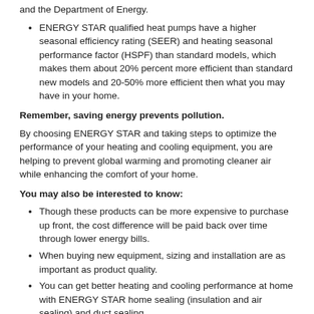and the Department of Energy.
ENERGY STAR qualified heat pumps have a higher seasonal efficiency rating (SEER) and heating seasonal performance factor (HSPF) than standard models, which makes them about 20% percent more efficient than standard new models and 20-50% more efficient then what you may have in your home.
Remember, saving energy prevents pollution.
By choosing ENERGY STAR and taking steps to optimize the performance of your heating and cooling equipment, you are helping to prevent global warming and promoting cleaner air while enhancing the comfort of your home.
You may also be interested to know:
Though these products can be more expensive to purchase up front, the cost difference will be paid back over time through lower energy bills.
When buying new equipment, sizing and installation are as important as product quality.
You can get better heating and cooling performance at home with ENERGY STAR home sealing (insulation and air sealing) and duct sealing.